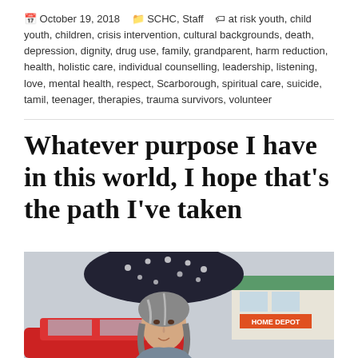October 19, 2018  SCHC, Staff  at risk youth, child youth, children, crisis intervention, cultural backgrounds, death, depression, dignity, drug use, family, grandparent, harm reduction, health, holistic care, individual counselling, leadership, listening, love, mental health, respect, Scarborough, spiritual care, suicide, tamil, teenager, therapies, trauma survivors, volunteer
Whatever purpose I have in this world, I hope that’s the path I’ve taken
[Figure (photo): A woman with long grey hair holding a dark umbrella with white star/flower pattern, standing outdoors near a red car, with a store (appears to be Home Depot) visible in the background. The sky is overcast.]